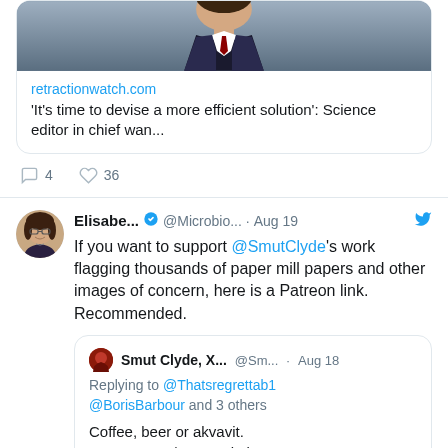[Figure (screenshot): Top portion of a tweet showing a link preview card for retractionwatch.com with a photo of a person in a suit and text: 'It's time to devise a more efficient solution': Science editor in chief wan...]
retractionwatch.com
'It's time to devise a more efficient solution': Science editor in chief wan...
4  36 (reply and like counts)
Elisabe... @Microbio... · Aug 19
If you want to support @SmutClyde's work flagging thousands of paper mill papers and other images of concern, here is a Patreon link. Recommended.
Smut Clyde, X... @Sm... · Aug 18
Replying to @Thatsregrettab1 @BorisBarbour and 3 others
Coffee, beer or akvavit.
patreon.com/Smut_Clyde
1  24 (reply and like counts, partially visible)